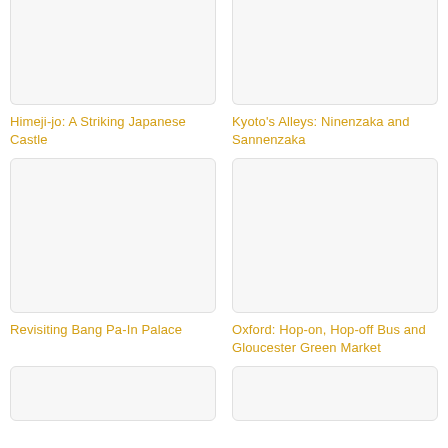[Figure (photo): Placeholder image for Himeji-jo article, light gray rounded rectangle]
Himeji-jo: A Striking Japanese Castle
[Figure (photo): Placeholder image for Kyoto's Alleys article, light gray rounded rectangle]
Kyoto's Alleys: Ninenzaka and Sannenzaka
[Figure (photo): Placeholder image for Revisiting Bang Pa-In Palace article, light gray rounded rectangle]
Revisiting Bang Pa-In Palace
[Figure (photo): Placeholder image for Oxford article, light gray rounded rectangle]
Oxford: Hop-on, Hop-off Bus and Gloucester Green Market
[Figure (photo): Partial placeholder image at bottom left]
[Figure (photo): Partial placeholder image at bottom right]